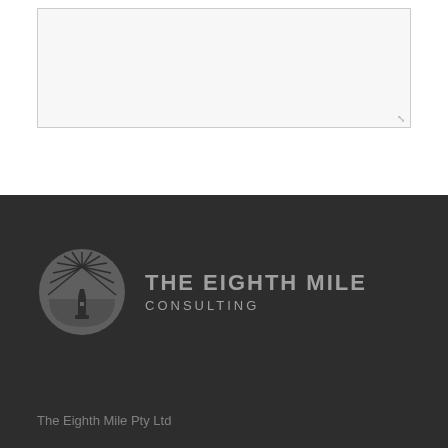[Figure (screenshot): Comment textarea input box with resize handle in bottom right corner]
[Figure (logo): Post Comment button - orange/amber colored button with white text]
[Figure (logo): The Eighth Mile Consulting logo - grey circular sunburst/lighthouse icon with grey text on dark background]
The Eighth Mile Pty Ltd